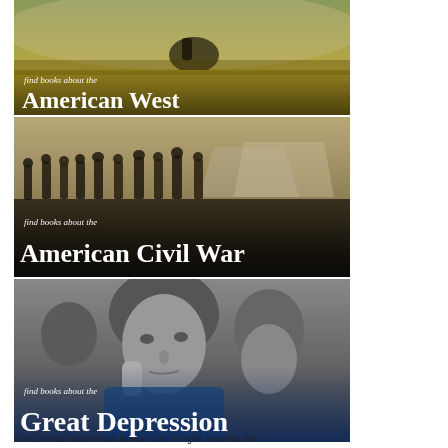[Figure (illustration): Banner image showing a rider on horseback in a golden field. Text overlay reads 'find books about the American West']
[Figure (illustration): Sepia-toned Civil War era photograph of soldiers and officers in front of tents. Text overlay reads 'find books about the American Civil War']
[Figure (illustration): Black and white photograph of a worried woman with children, iconic Migrant Mother image. Text overlay reads 'find books about the Great Depression']
© 2013–2022 HomeschoolLibrarian.com. All rights reserved. Site